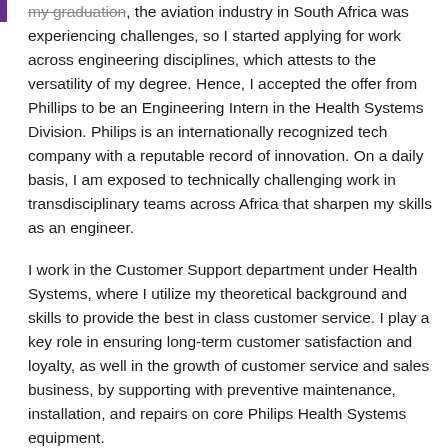my graduation, the aviation industry in South Africa was experiencing challenges, so I started applying for work across engineering disciplines, which attests to the versatility of my degree. Hence, I accepted the offer from Phillips to be an Engineering Intern in the Health Systems Division. Philips is an internationally recognized tech company with a reputable record of innovation. On a daily basis, I am exposed to technically challenging work in transdisciplinary teams across Africa that sharpen my skills as an engineer.
I work in the Customer Support department under Health Systems, where I utilize my theoretical background and skills to provide the best in class customer service. I play a key role in ensuring long-term customer satisfaction and loyalty, as well in the growth of customer service and sales business, by supporting with preventive maintenance, installation, and repairs on core Philips Health Systems equipment.